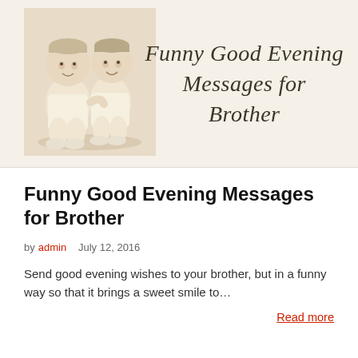[Figure (photo): Banner image with sepia-toned vintage photo of two young baby boys sitting together, with cursive script text reading 'Funny Good Evening Messages for Brother' on a cream/beige background]
Funny Good Evening Messages for Brother
by admin   July 12, 2016
Send good evening wishes to your brother, but in a funny way so that it brings a sweet smile to…
Read more